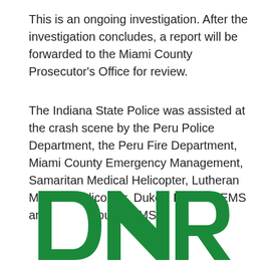This is an ongoing investigation. After the investigation concludes, a report will be forwarded to the Miami County Prosecutor's Office for review.
The Indiana State Police was assisted at the crash scene by the Peru Police Department, the Peru Fire Department, Miami County Emergency Management, Samaritan Medical Helicopter, Lutheran Medical Helicopter, Dukes' Hospital EMS and Fulton County EMS.
[Figure (logo): DNR logo in large bold green letters]